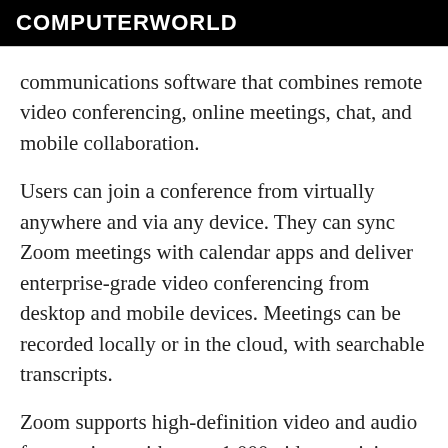COMPUTERWORLD
communications software that combines remote video conferencing, online meetings, chat, and mobile collaboration.
Users can join a conference from virtually anywhere and via any device. They can sync Zoom meetings with calendar apps and deliver enterprise-grade video conferencing from desktop and mobile devices. Meetings can be recorded locally or in the cloud, with searchable transcripts.
Zoom supports high-definition video and audio for meetings with up to 1,000 video participants and 49 videos on screen. Built-in collaboration tools allow